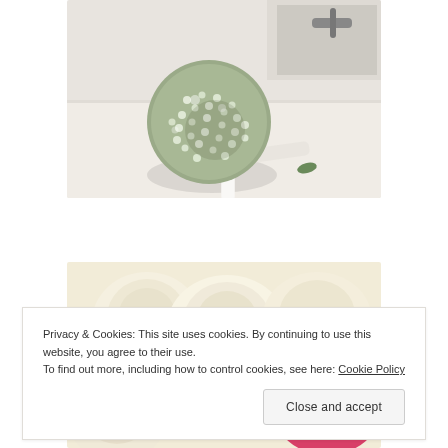[Figure (photo): A round baby's breath flower bouquet with a white ribbon-wrapped stem, resting on a white surface near a white picture frame or window sill, shot from above at an angle.]
[Figure (photo): A close-up photo of white and pink roses, partially obscured by a cookie consent banner overlay.]
Privacy & Cookies: This site uses cookies. By continuing to use this website, you agree to their use.
To find out more, including how to control cookies, see here: Cookie Policy
Close and accept